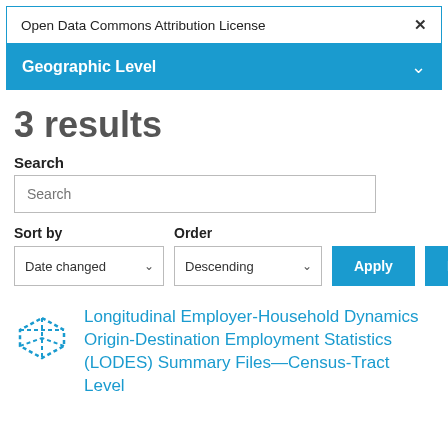Open Data Commons Attribution License
Geographic Level
3 results
Search
Sort by
Order
Longitudinal Employer-Household Dynamics Origin-Destination Employment Statistics (LODES) Summary Files—Census-Tract Level